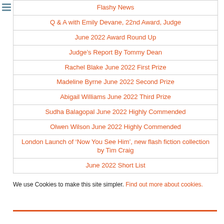Flashy News
Q & A with Emily Devane, 22nd Award, Judge
June 2022 Award Round Up
Judge's Report By Tommy Dean
Rachel Blake June 2022 First Prize
Madeline Byrne June 2022 Second Prize
Abigail Williams June 2022 Third Prize
Sudha Balagopal June 2022 Highly Commended
Olwen Wilson June 2022 Highly Commended
London Launch of ‘Now You See Him’, new flash fiction collection by Tim Craig
June 2022 Short List
We use Cookies to make this site simpler. Find out more about cookies.